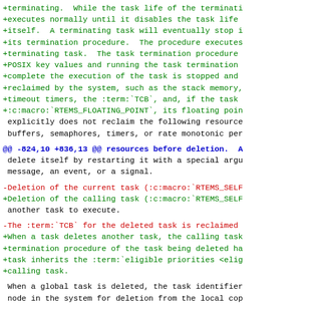+terminating.  While the task life of the terminati
+executes normally until it disables the task life
+itself.  A terminating task will eventually stop i
+its termination procedure.  The procedure executes
+terminating task.  The task termination procedure
+POSIX key values and running the task termination
+complete the execution of the task is stopped and
+reclaimed by the system, such as the stack memory,
+timeout timers, the :term:`TCB`, and, if the task
+:c:macro:`RTEMS_FLOATING_POINT`, its floating poin
 explicitly does not reclaim the following resource
 buffers, semaphores, timers, or rate monotonic per
@@ -824,10 +836,13 @@ resources before deletion.  A
 delete itself by restarting it with a special argu
 message, an event, or a signal.
-Deletion of the current task (:c:macro:`RTEMS_SELF
+Deletion of the calling task (:c:macro:`RTEMS_SELF
 another task to execute.
-The :term:`TCB` for the deleted task is reclaimed
+When a task deletes another task, the calling task
+termination procedure of the task being deleted ha
+task inherits the :term:`eligible priorities <elig
+calling task.
When a global task is deleted, the task identifier
 node in the system for deletion from the local cop